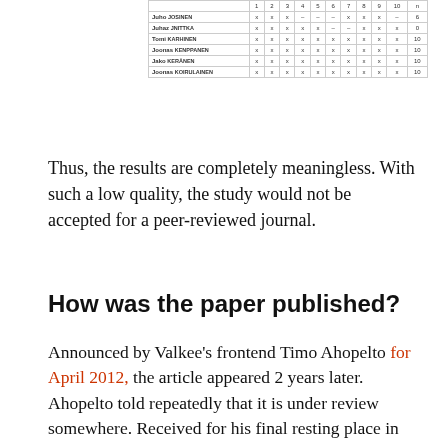|  | 1 | 2 | 3 | 4 | 5 | 6 | 7 | 8 | 9 | 10 | n |
| --- | --- | --- | --- | --- | --- | --- | --- | --- | --- | --- | --- |
| Juho JOSINEN | x | x | x | - | - | - | x | x | x | - | 6 |
| Juhaz JNITTKA | x | x | x | x | x | - | - | x | x | x | 0 |
| Tomi KARHINEN | x | x | x | x | x | x | x | x | x | x | 10 |
| Joonas KENPPANEN | x | x | x | x | x | x | x | x | x | x | 10 |
| Jako KERÄNEN | x | x | x | x | x | x | x | x | x | x | 10 |
| Joonas KOIRULAINEN | x | x | x | x | x | x | x | x | x | x | 10 |
Thus, the results are completely meaningless. With such a low quality, the study would not be accepted for a peer-reviewed journal.
How was the paper published?
Announced by Valkee's frontend Timo Ahopelto for April 2012, the article appeared 2 years later. Ahopelto told repeatedly that it is under review somewhere. Received for his final resting place in February 2014, it must have been submitted to at least 4 other journals before. Possibly there were more fruitless submissions.